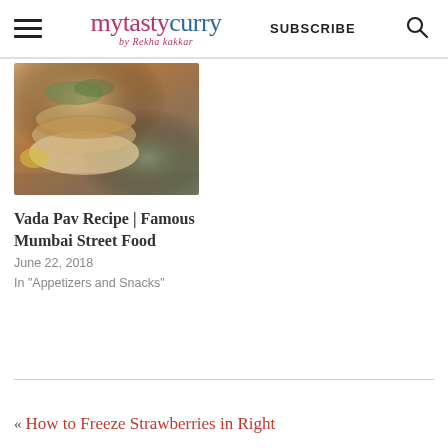mytastycurry by Rekha kakkar | SUBSCRIBE
[Figure (photo): Photo of Vada Pav, a Mumbai street food dish showing fried potato fritters in bread rolls with green chutney]
Vada Pav Recipe | Famous Mumbai Street Food
June 22, 2018
In "Appetizers and Snacks"
« How to Freeze Strawberries in Right